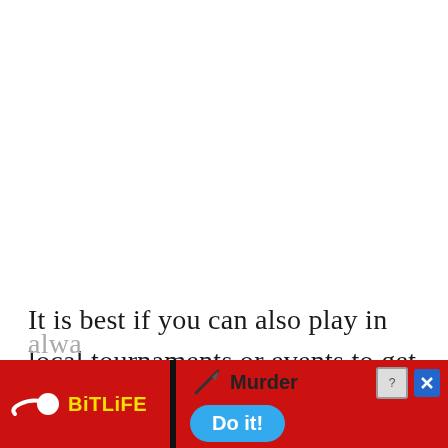It is best if you can also play in local tournaments or events to get your name out there, but this is not something that is alwa...
[Figure (screenshot): Mobile advertisement banner for BitLife game showing 'Murder Do it!' call to action with a red background, yellow BitLife logo, knife icon, and blue button.]